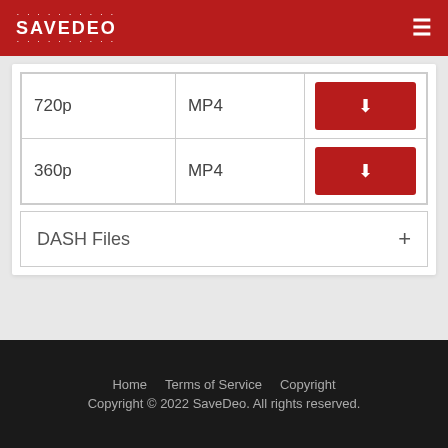SAVEDEO
| Resolution | Format | Download |
| --- | --- | --- |
| 720p | MP4 | ⬇ |
| 360p | MP4 | ⬇ |
DASH Files +
Home   Terms of Service   Copyright
Copyright © 2022 SaveDeo. All rights reserved.